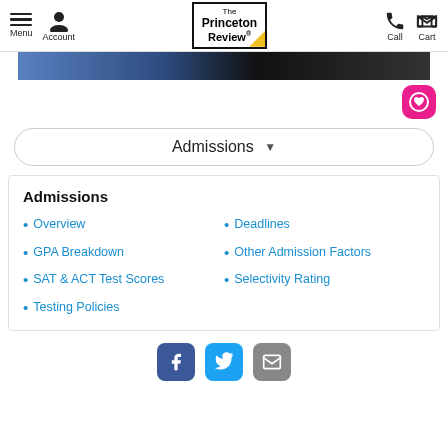Menu | Account | The Princeton Review | Call | Cart
[Figure (screenshot): Partial banner/hero image strip (dark blue/black gradient), partially visible at top]
[Figure (other): Pink rounded square button with white heart/circle icon]
Admissions ▾
Admissions
Overview
GPA Breakdown
SAT & ACT Test Scores
Testing Policies
Deadlines
Other Admission Factors
Selectivity Rating
[Figure (other): Social media icons: Facebook (blue), Twitter (light blue), Email (gray)]